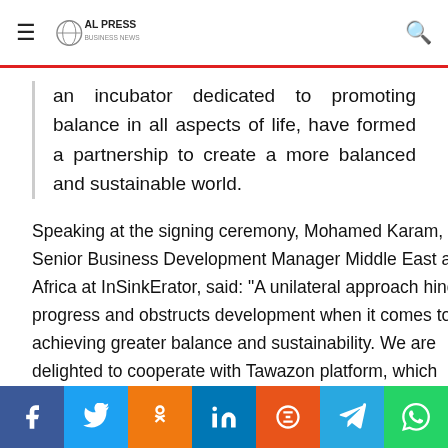AL PRESS (logo) — navigation bar with hamburger menu and search icon
an incubator dedicated to promoting balance in all aspects of life, have formed a partnership to create a more balanced and sustainable world.
Speaking at the signing ceremony, Mohamed Karam, Senior Business Development Manager Middle East and Africa at InSinkErator, said: "A unilateral approach hinders progress and obstructs development when it comes to achieving greater balance and sustainability. We are delighted to cooperate with Tawazon platform, which since its launch has gained significant attention. We are confident that this agreement will support our shared sustainability goals."
Social sharing buttons: Facebook, Twitter, Odnoklassniki, LinkedIn, Blogger, Telegram, WhatsApp